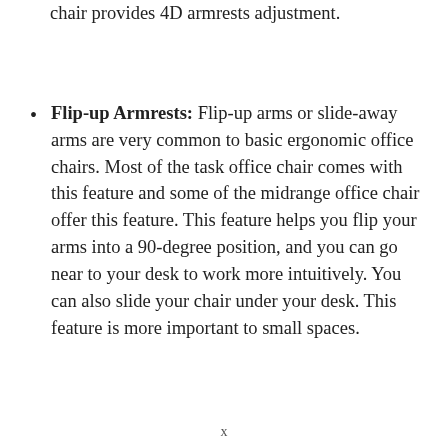chair provides 4D armrests adjustment.
Flip-up Armrests: Flip-up arms or slide-away arms are very common to basic ergonomic office chairs. Most of the task office chair comes with this feature and some of the midrange office chair offer this feature. This feature helps you flip your arms into a 90-degree position, and you can go near to your desk to work more intuitively. You can also slide your chair under your desk. This feature is more important to small spaces.
x